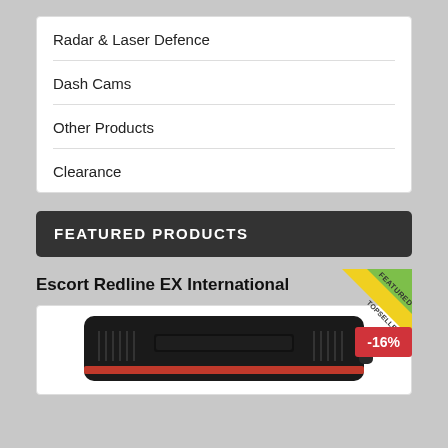Radar & Laser Defence
Dash Cams
Other Products
Clearance
FEATURED PRODUCTS
Escort Redline EX International
[Figure (photo): Product photo of Escort Redline EX International radar/laser detector, black device with red trim, showing top and front view, with Featured/Top Seller ribbon badge and -16% discount badge]
-16%